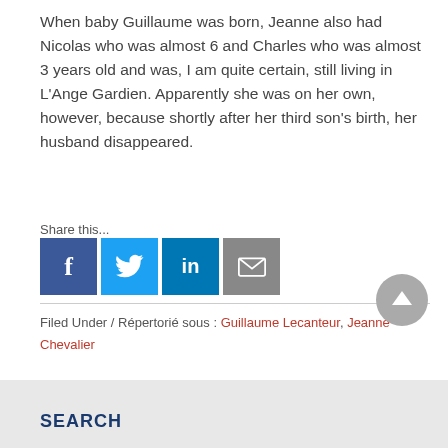When baby Guillaume was born, Jeanne also had Nicolas who was almost 6 and Charles who was almost 3 years old and was, I am quite certain, still living in L'Ange Gardien. Apparently she was on her own, however, because shortly after her third son's birth, her husband disappeared.
Share this...
[Figure (infographic): Social share buttons: Facebook (blue), Twitter (light blue), LinkedIn (dark blue), Email (grey)]
Filed Under / Répertorié sous : Guillaume Lecanteur, Jeanne Chevalier
SEARCH